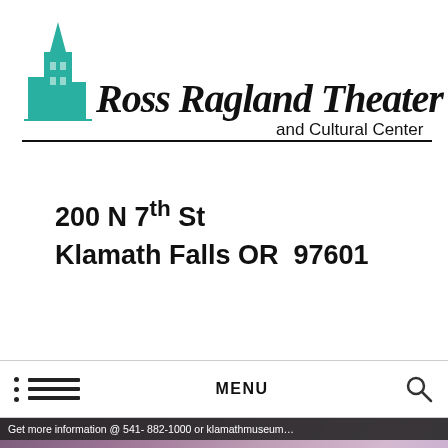[Figure (logo): Ross Ragland Theater and Cultural Center logo with teal building icon and stylized italic script text]
200 N 7th St
Klamath Falls OR  97601
MENU
[Figure (illustration): Trolley Tours promotional banner with purple/mauve gradient background, building silhouette, and ornate text reading 'Trolley Tours'. Info bar reads: Get more information @ 541-882-1000 or klamathmuseum...]